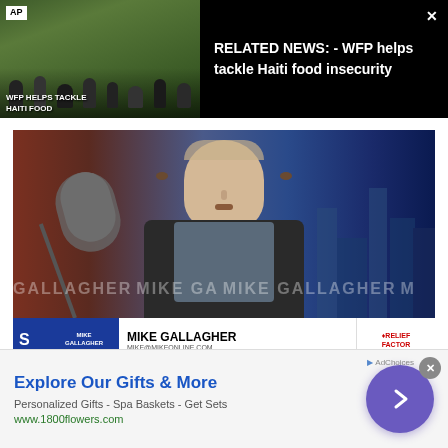[Figure (screenshot): AP video thumbnail showing crowd scene with text overlay 'WFP HELPS TACKLE HAITI FOOD' and AP logo]
RELATED NEWS: - WFP helps tackle Haiti food insecurity
[Figure (screenshot): Video frame of Mike Gallagher speaking at microphone with studio background and name bar showing MIKE GALLAGHER, MIKE@MIKEONLINE.COM and Relief Factor logo]
Explore Our Gifts & More
Personalized Gifts - Spa Baskets - Get Sets
www.1800flowers.com